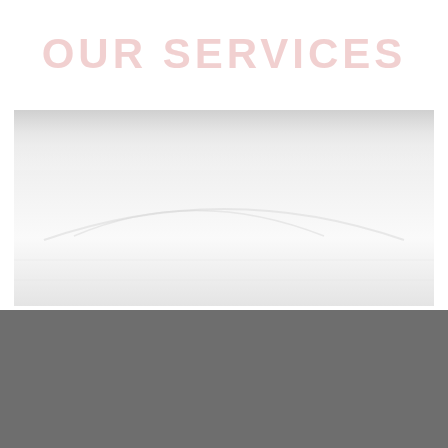OUR SERVICES
[Figure (photo): Faded/washed-out photograph of a white car rooftop, very light and barely visible against a white background]
X
TAP TO CALL NOW
281-589-8984